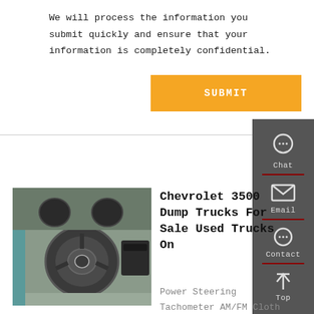We will process the information you submit quickly and ensure that your information is completely confidential.
[Figure (other): Orange SUBMIT button]
[Figure (photo): Interior photo of a Chevrolet 3500 truck showing the steering wheel and dashboard]
Chevrolet 3500 Dump Trucks For Sale Used Trucks On
Power Steering
Tachometer AM/FM Cloth